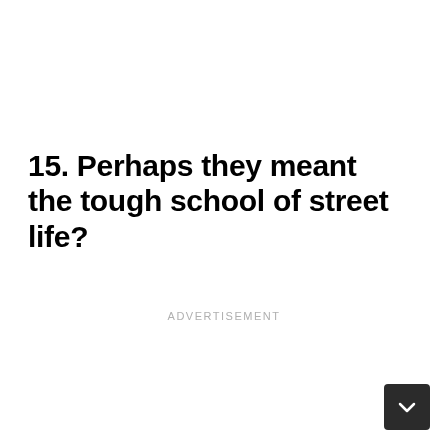15. Perhaps they meant the tough school of street life?
ADVERTISEMENT